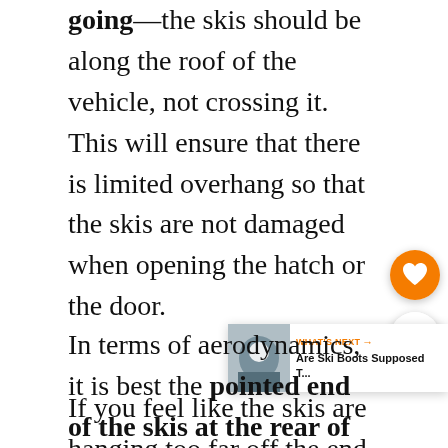going—the skis should be along the roof of the vehicle, not crossing it. This will ensure that there is limited overhang so that the skis are not damaged when opening the hatch or the door.
If you feel like the skis are hanging too far off the end of your car for you to be able to fully open the hatch, move them forward so that they are hanging over the windshield more than the rear window.
In terms of aerodynamics, it is best the pointed end of the skis at the rear of